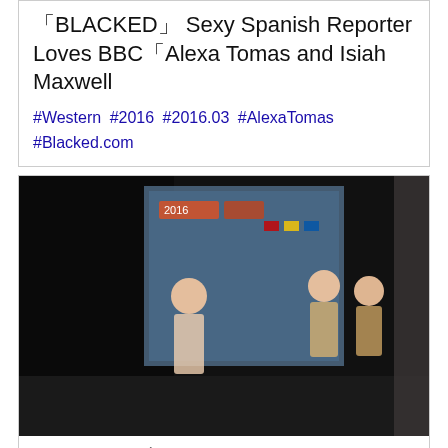「BLACKED」 Sexy Spanish Reporter Loves BBC「Alexa Tomas and Isiah Maxwell
#Western #2016 #2016.03 #AlexaTomas #Blacked.com
[Figure (photo): Concert or event photo showing performers on stage with banner/backdrop, dark background]
2016AVOPスターにくちづけ#2
#Japan #2016 #女優 #くちづけ #スター
[Figure (photo): Group photo of women in white dresses posing together]